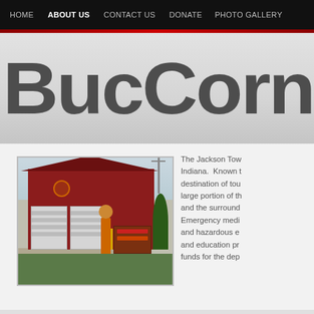HOME  ABOUT US  CONTACT US  DONATE  PHOTO GALLERY
BucCornE
[Figure (photo): Red fire station building with two white garage doors, a sign post, mascot figure, and tower antenna in background]
The Jackson Tow Indiana.  Known destination of tou large portion of th and the surround Emergency medi and hazardous e and education pr funds for the dep
[Figure (screenshot): Bottom strip showing webs text overlay on a photo background]